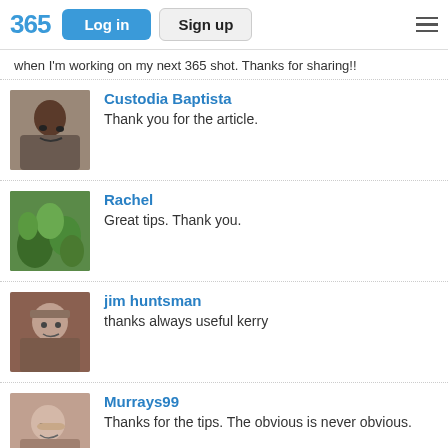365 | Log in | Sign up
when I'm working on my next 365 shot. Thanks for sharing!!
Custodia Baptista
Thank you for the article.
Rachel
Great tips. Thank you.
jim huntsman
thanks always useful kerry
Murrays99
Thanks for the tips. The obvious is never obvious.